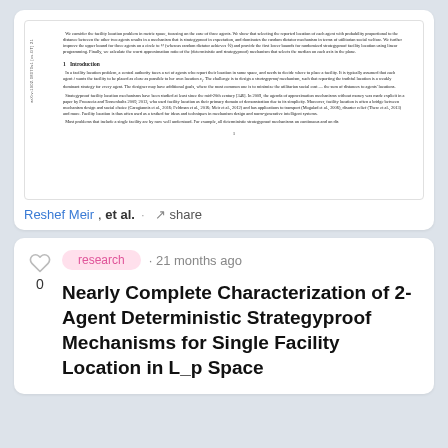[Figure (screenshot): Thumbnail preview of an academic paper page showing abstract text, section 1 Introduction, and body paragraphs with an arXiv identifier on the left margin.]
Reshef Meir, et al. · share
research · 21 months ago
Nearly Complete Characterization of 2-Agent Deterministic Strategyproof Mechanisms for Single Facility Location in L_p Space